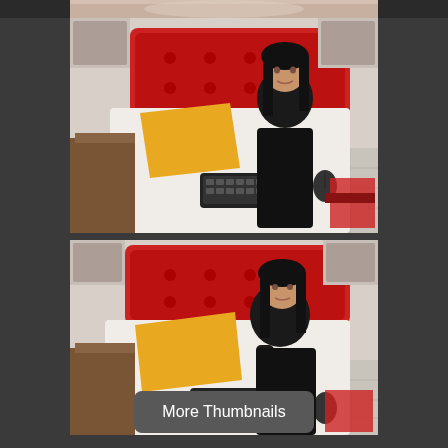[Figure (photo): Partial image visible at very top of page, cropped]
[Figure (photo): Woman with dark hair wearing black outfit sitting on a bed with red headboard and yellow pillow, with a keyboard in front of her, bedroom setting]
[Figure (photo): Same woman with dark hair wearing black outfit sitting on a bed with red headboard and yellow pillow, slightly different pose, bedroom setting]
More Thumbnails